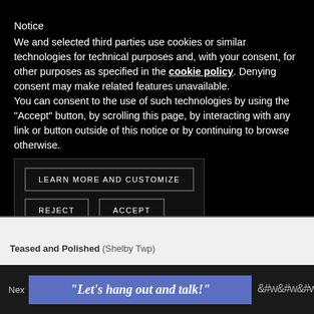Notice
We and selected third parties use cookies or similar technologies for technical purposes and, with your consent, for other purposes as specified in the cookie policy. Denying consent may make related features unavailable.
You can consent to the use of such technologies by using the “Accept” button, by scrolling this page, by interacting with any link or button outside of this notice or by continuing to browse otherwise.
[Figure (other): Cookie consent buttons: LEARN MORE AND CUSTOMIZE, REJECT, ACCEPT]
Teased and Polished (Shelby Twp)
Nex
[Figure (other): Advertisement banner with text: “Let’s hang out and talk!” on blue background]
[Figure (logo): Website logo icon in grey]